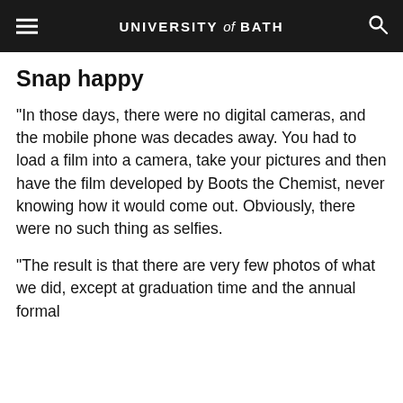UNIVERSITY of BATH
Snap happy
"In those days, there were no digital cameras, and the mobile phone was decades away. You had to load a film into a camera, take your pictures and then have the film developed by Boots the Chemist, never knowing how it would come out. Obviously, there were no such thing as selfies.
"The result is that there are very few photos of what we did, except at graduation time and the annual formal